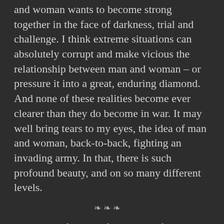and woman wants to become strong together in the face of darkness, trial and challenge. I think extreme situations can absolutely corrupt and make vicious the relationship between man and woman – or pressure it into a great, enduring diamond. And none of these realities become ever clearer than they do become in war. It may well bring tears to my eyes, the idea of man and woman, back-to-back, fighting an invading army. In that, there is such profound beauty, and on so many different levels.
[Figure (other): Small decorative divider image with ornamental symbols]
For many of them, I feel a kind of love through time and space, and that is not only toward the soldiers and the military commanders. A woman does not have to kill or command others do so, in